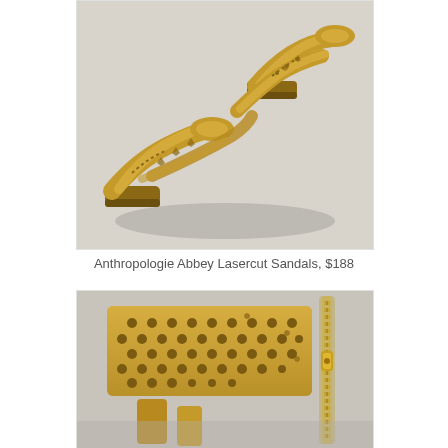[Figure (photo): Overhead view of tan/camel colored lasercut leather sandals with strappy cross bands and a small block heel, photographed on a light gray background.]
Anthropologie Abbey Lasercut Sandals, $188
[Figure (photo): Close-up detail shot of tan/camel colored lasercut leather sandal showing perforated ankle cuff with dot pattern cutouts and a gold zipper at the back heel.]